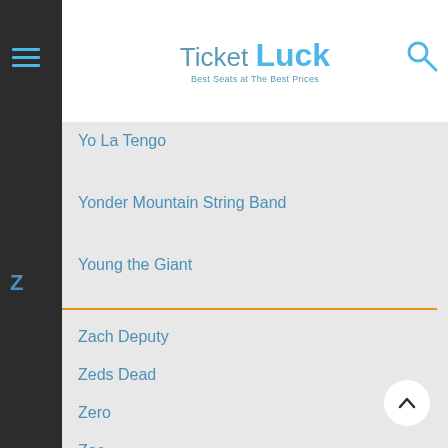Ticket Luck — Best Seats at The Best Prices
Yo La Tengo
Yonder Mountain String Band
Young the Giant
Yarn
Yard Act
Z
Zach Deputy
Zeds Dead
Zero
Zoe